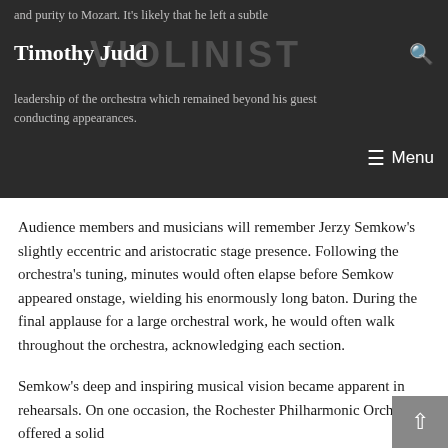and purity to Mozart. It's likely that he left a subtle leadership of the orchestra which remained beyond his guest conducting appearances.
Timothy Judd
Audience members and musicians will remember Jerzy Semkow's slightly eccentric and aristocratic stage presence. Following the orchestra's tuning, minutes would often elapse before Semkow appeared onstage, wielding his enormously long baton. During the final applause for a large orchestral work, he would often walk throughout the orchestra, acknowledging each section.
Semkow's deep and inspiring musical vision became apparent in rehearsals. On one occasion, the Rochester Philharmonic Orchestra offered a solid